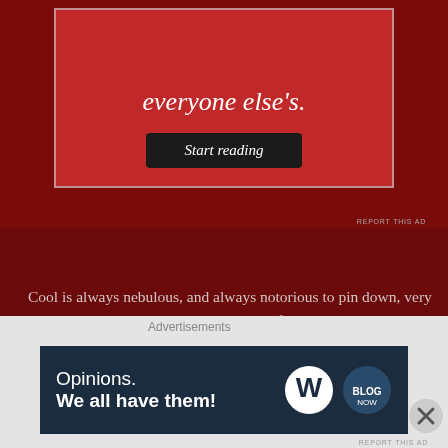[Figure (screenshot): Red advertisement box with 'everyone else's.' text and a dark 'Start reading' button]
REPORT THIS AD
Cool is always nebulous, and always notorious to pin down, very subjective. But the anti-U2 sentiment is fierce among people my age, and I can't ever remember a time when anyone even remotely discussed Bono as cool who wasn't over 30. Bono, for anyone who even vaguely pays attention, represents the shallowest of cools. He's probably a top bloke, but U2 have never been anywhere near the cutting edge of cool, and belong somewhere along the great “Stadium Fillers” genre.
I mean, U2 diatribe aside, the credence given to Laura’s
Advertisements
[Figure (screenshot): Dark navy blue advertisement banner reading 'Opinions. We all have them!' with WordPress and another circular logo icon]
REPORT THIS AD